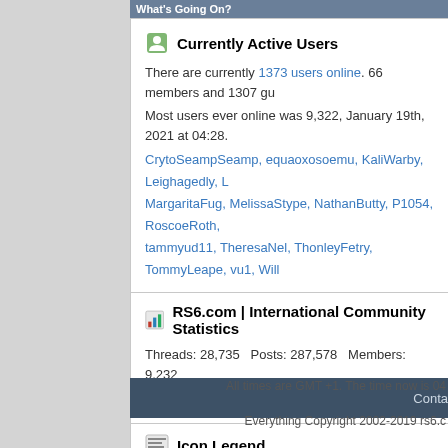What's Going On?
Currently Active Users
There are currently 1373 users online. 66 members and 1307 gu
Most users ever online was 9,322, January 19th, 2021 at 04:28.
CrytoSeampSeamp, equaoxosoemu, KaliWarby, Leighagedly, L, MargaritaFug, MelissaStype, NathanButty, P1054, RoscoeRoth, tammyud11, TheresaNel, ThonleyFetry, TommyLeape, vu1, Will
RS6.com | International Community Statistics
Threads: 28,735  Posts: 287,578  Members: 9,232
Welcome to our newest member, RustyP
Icon Legend
Contains unread forum posts
Contains no unread forum posts
Forum is a category
Forum is a Link
Conta
All times are GMT +1. The time now is 04
Everything Copyright 2002-2019 rs6.c